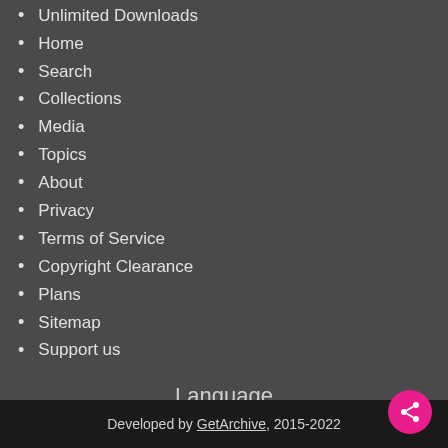Unlimited Downloads
Home
Search
Collections
Media
Topics
About
Privacy
Terms of Service
Copyright Clearance
Plans
Sitemap
Support us
Language
🇺🇸 English (English)
🇩🇪 Deutsch (German)
Русский (Russian)
Developed by GetArchive, 2015-2022